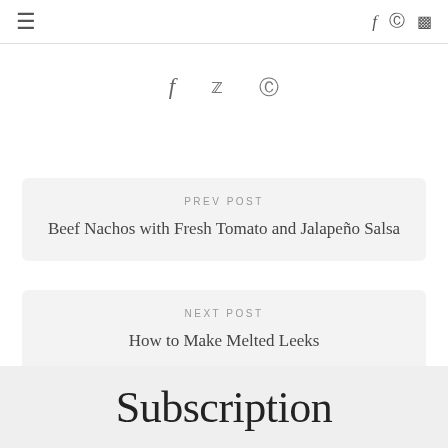≡  f  ⊕  ▣
[Figure (other): Social share icons: f (Facebook), bird (Twitter), circle-P (Pinterest)]
PREV POST
Beef Nachos with Fresh Tomato and Jalapeño Salsa
NEXT POST
How to Make Melted Leeks
Subscription